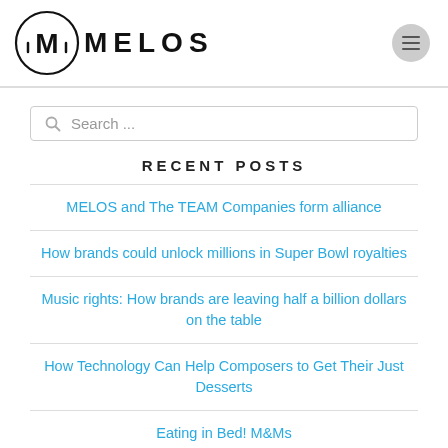MELOS
[Figure (logo): MELOS logo with circular M icon and text MELOS]
Search ...
RECENT POSTS
MELOS and The TEAM Companies form alliance
How brands could unlock millions in Super Bowl royalties
Music rights: How brands are leaving half a billion dollars on the table
How Technology Can Help Composers to Get Their Just Desserts
Eating in Bed! M&Ms